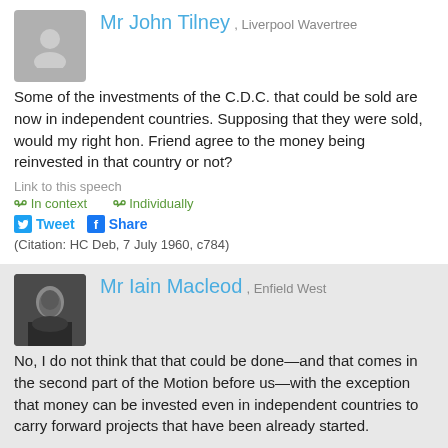Mr John Tilney
, Liverpool Wavertree
Some of the investments of the C.D.C. that could be sold are now in independent countries. Supposing that they were sold, would my right hon. Friend agree to the money being reinvested in that country or not?
Link to this speech
In context   Individually
Tweet   Share
(Citation: HC Deb, 7 July 1960, c784)
Mr Iain Macleod
, Enfield West
No, I do not think that that could be done—and that comes in the second part of the Motion before us—with the exception that money can be invested even in independent countries to carry forward projects that have been already started.
The precise proposal made by the Opposition states in effect that the